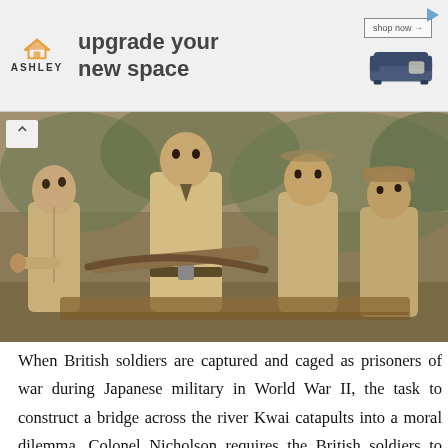[Figure (advertisement): Ashley Furniture advertisement banner with logo, headline 'upgrade your new space', shop now button, sofa image, and play icon]
[Figure (photo): Black and white/sepia photo of four British soldiers in khaki uniforms, one holding a curved instrument, outdoors with trees in background]
When British soldiers are captured and caged as prisoners of war during Japanese military in World War II, the task to construct a bridge across the river Kwai catapults into a moral dilemma. Colonel Nicholson requires the British soldiers to build the bridge  in it pristine state, as a shining testament to the cavalry. However, the task in itself can be seen as supporting the enemy, if viewed from a different and